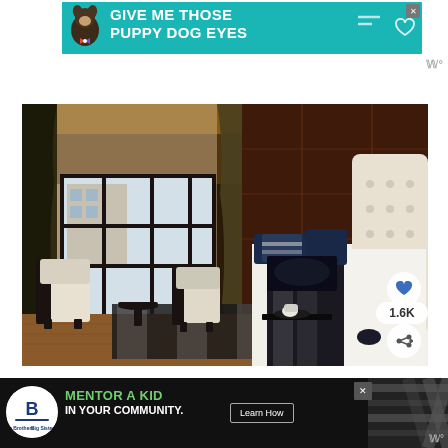[Figure (other): Advertisement banner: teal background with dog wearing bow tie, text GIVE ME THOSE PUPPY DOG EYES with heart icon, close button]
[Figure (photo): Luxurious bedroom interior with tall industrial-style windows, dark curtains, tufted white headboard, navy and white pillows, dark wood accent wall, two accent chairs by window, hardwood floor]
[Figure (other): Social action buttons overlaid on photo: heart/save button, 1.6K count, share button]
[Figure (other): Bottom advertisement bar: black background, Big Brothers Big Sisters logo, MENTOR A KID IN YOUR COMMUNITY text, Learn How button, diagonal stripe pattern, close button]